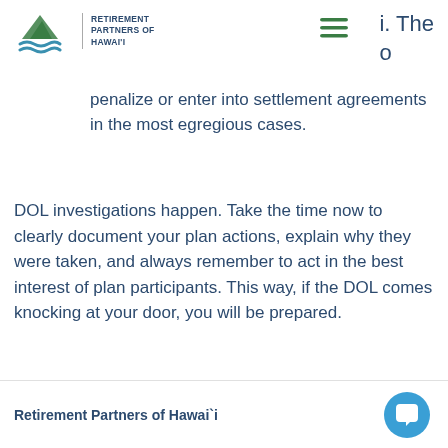Retirement Partners of Hawai'i
penalize or enter into settlement agreements in the most egregious cases.
DOL investigations happen. Take the time now to clearly document your plan actions, explain why they were taken, and always remember to act in the best interest of plan participants. This way, if the DOL comes knocking at your door, you will be prepared.
Retirement Partners of Hawai'i